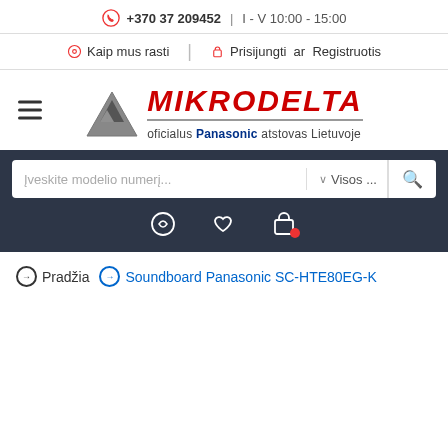🎧 +370 37 209452   I - V 10:00 - 15:00
📍 Kaip mus rasti   |   🔒 Prisijungti  ar  Registruotis
[Figure (logo): Mikrodelta logo with triangle icon, red italic MIKRODELTA text, tagline: oficialus Panasonic atstovas Lietuvoje]
[Figure (screenshot): Search bar with placeholder 'Įveskite modelio numerį...', dropdown 'Visos...', search icon, and icon row with compare, wishlist, and cart (with red badge) icons on dark background]
→ Pradžia    → Soundboard Panasonic SC-HTE80EG-K